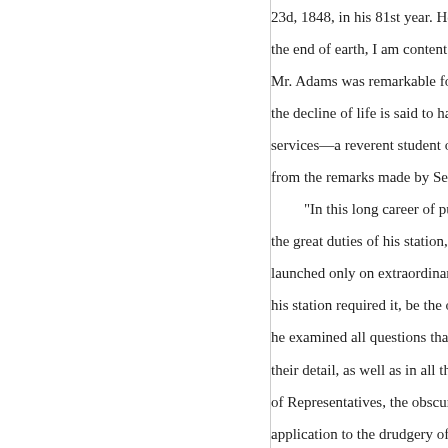23d, 1848, in his 81st year. He w... the end of earth, I am content." R...
Mr. Adams was remarkable for h... the decline of life is said to have ... services—a reverent student of th... from the remarks made by Senat...
"In this long career of public s... the great duties of his station, bu... launched only on extraordinary c... his station required it, be the occ... he examined all questions that ca... their detail, as well as in all the v... of Representatives, the obscure c...
application to the drudgery of leg... replete with knowledge, which i... ornament to debate.
"In the observance of all the p... cultivated the minor as well as th... what was useful and honorable to... meritorious meetings of the agric... worship—he gave the punc
tual attendance rarely seen but t...